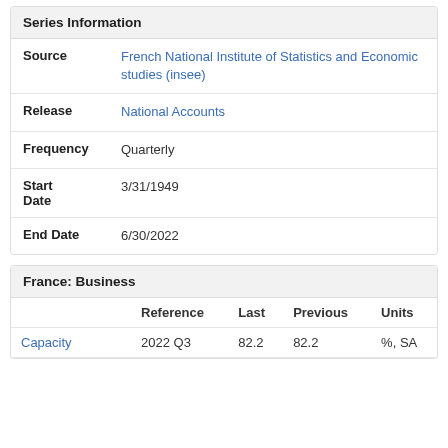Series Information
|  |  |
| --- | --- |
| Source | French National Institute of Statistics and Economic studies (insee) |
| Release | National Accounts |
| Frequency | Quarterly |
| Start Date | 3/31/1949 |
| End Date | 6/30/2022 |
France: Business
|  | Reference | Last | Previous | Units |
| --- | --- | --- | --- | --- |
| Capacity | 2022 Q3 | 82.2 | 82.2 | %, SA |